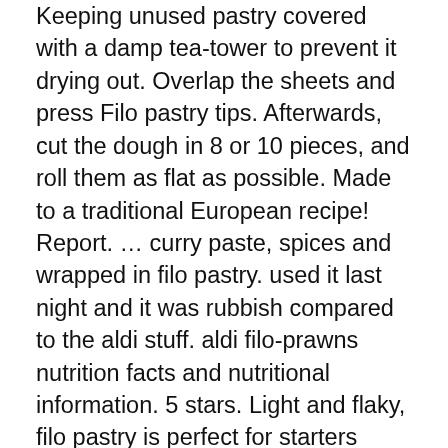Keeping unused pastry covered with a damp tea-tower to prevent it drying out. Overlap the sheets and press Filo pastry tips. Afterwards, cut the dough in 8 or 10 pieces, and roll them as flat as possible. Made to a traditional European recipe! Report. ... curry paste, spices and wrapped in filo pastry. used it last night and it was rubbish compared to the aldi stuff. aldi filo-prawns nutrition facts and nutritional information. 5 stars. Light and flaky, filo pastry is perfect for starters such as samosas and tartlets, as well as delicious desserts like baklava and fruit tarts. I always have a big stash of these in the freezer!" "I'll have mushrooms with anything, that's why I tried these. Make sure your hands are as dry as possible. A collaborative, free and open database of food products from around the world. Ideal for sweet and savoury dishes, use in strudel, baklava and spanakopita, formed into cases and much more. 21-02-2018, 15:54 #3: Bargain_Hound. SI Spray the base of a 23cm springform cake tin with olive oil spray and line with